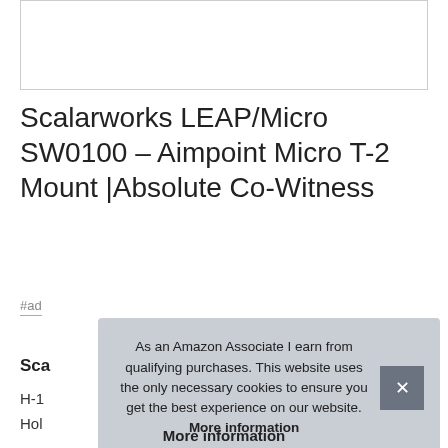[Figure (photo): Product image area - partially visible at top, white background with border]
Scalarworks LEAP/Micro SW0100 – Aimpoint Micro T-2 Mount |Absolute Co-Witness
#ad
Sca
H-1
Hol
As an Amazon Associate I earn from qualifying purchases. This website uses the only necessary cookies to ensure you get the best experience on our website. More information
More information